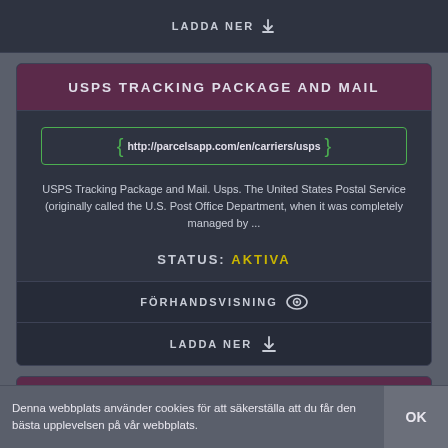LADDA NER
USPS TRACKING PACKAGE AND MAIL
http://parcelsapp.com/en/carriers/usps
USPS Tracking Package and Mail. Usps. The United States Postal Service (originally called the U.S. Post Office Department, when it was completely managed by ...
STATUS: AKTIVA
FÖRHANDSVISNING
LADDA NER
USPS PACKAGE SAYS OUT FOR DELIVERY STILL BUT MAIL
Denna webbplats använder cookies för att säkerställa att du får den bästa upplevelsen på vår webbplats.
OK